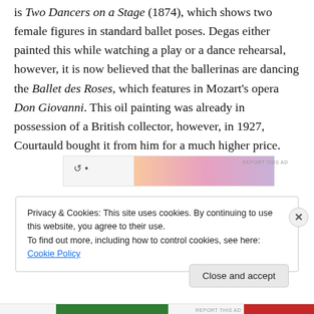is Two Dancers on a Stage (1874), which shows two female figures in standard ballet poses. Degas either painted this while watching a play or a dance rehearsal, however, it is now believed that the ballerinas are dancing the Ballet des Roses, which features in Mozart's opera Don Giovanni. This oil painting was already in possession of a British collector, however, in 1927, Courtauld bought it from him for a much higher price.
[Figure (other): Advertisement banner with gradient background (orange, pink, purple tones)]
Privacy & Cookies: This site uses cookies. By continuing to use this website, you agree to their use.
To find out more, including how to control cookies, see here: Cookie Policy
Close and accept